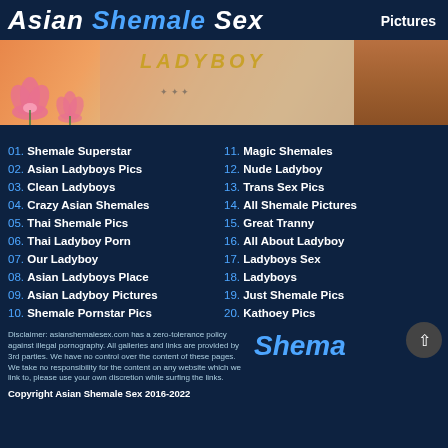Asian Shemale Sex — Pictures
[Figure (photo): Banner image for Asian Shemale Sex website showing decorative elements with lotus flowers on orange/peach background, with text overlay 'LADYBOY']
01. Shemale Superstar
02. Asian Ladyboys Pics
03. Clean Ladyboys
04. Crazy Asian Shemales
05. Thai Shemale Pics
06. Thai Ladyboy Porn
07. Our Ladyboy
08. Asian Ladyboys Place
09. Asian Ladyboy Pictures
10. Shemale Pornstar Pics
11. Magic Shemales
12. Nude Ladyboy
13. Trans Sex Pics
14. All Shemale Pictures
15. Great Tranny
16. All About Ladyboy
17. Ladyboys Sex
18. Ladyboys
19. Just Shemale Pics
20. Kathoey Pics
Disclaimer: asianshemalesex.com has a zero-tolerance policy against illegal pornography. All galleries and links are provided by 3rd parties. We have no control over the content of these pages. We take no responsibility for the content on any website which we link to, please use your own discretion while surfing the links.
Copyright Asian Shemale Sex 2016-2022